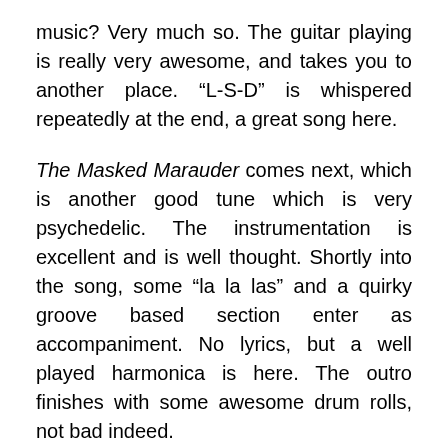music? Very much so. The guitar playing is really very awesome, and takes you to another place. “L-S-D” is whispered repeatedly at the end, a great song here.
The Masked Marauder comes next, which is another good tune which is very psychedelic. The instrumentation is excellent and is well thought. Shortly into the song, some “la la las” and a quirky groove based section enter as accompaniment. No lyrics, but a well played harmonica is here. The outro finishes with some awesome drum rolls, not bad indeed.
Lastly, Grace finishes the album, sounding psychedelic. It’s a very interesting and well written piece of lyrical surrealism directly referring to effects of psychedelic drug use. Remember, this is 1967 music, so that has to